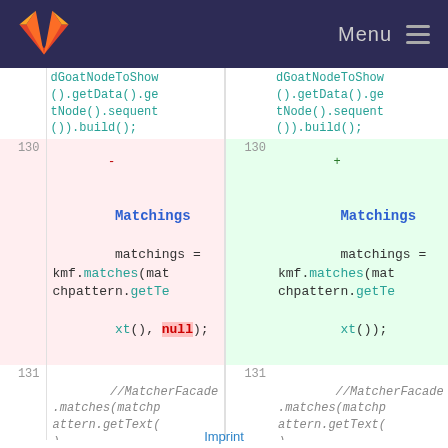GitLab logo | Menu
[Figure (screenshot): Code diff view showing two columns. Left column (old, line 130-131) shows removal of 'null' argument in kmf.matches call (Matchings class). Right column (new, line 130-131) shows the updated code without null argument. Line 131 shows commented-out MatcherFacade.matches call in both columns.]
Imprint